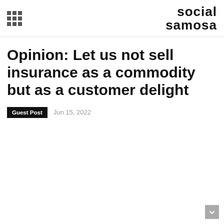social samosa
Opinion: Let us not sell insurance as a commodity but as a customer delight
Guest Post  Jun 15, 2022